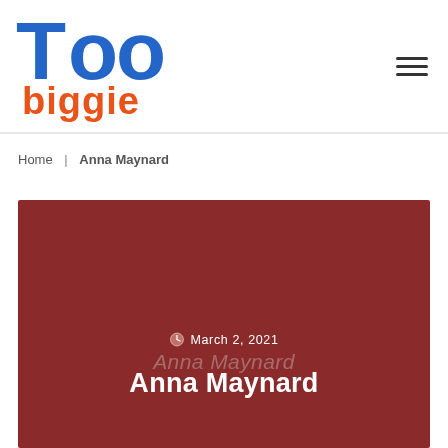[Figure (logo): Too biggie website logo — 'Too' in blue bold stylized font, 'biggie' in orange bold font below]
Too biggie — navigation header with hamburger menu icon
Home | Anna Maynard
[Figure (illustration): Dark red/maroon feature banner block with date 'March 2, 2021', ghost italic 'Anna Maynard' text and bold white 'Anna Maynard' title text]